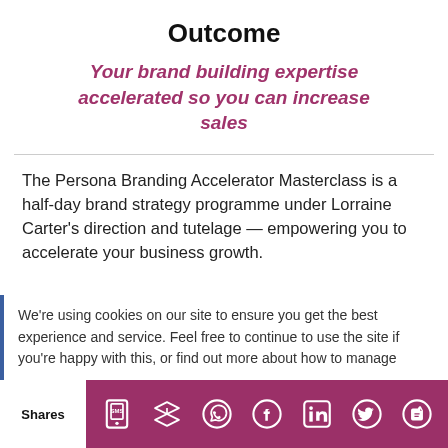Outcome
Your brand building expertise accelerated so you can increase sales
The Persona Branding Accelerator Masterclass is a half-day brand strategy programme under Lorraine Carter's direction and tutelage — empowering you to accelerate your business growth.
We're using cookies on our site to ensure you get the best experience and service. Feel free to continue to use the site if you're happy with this, or find out more about how to manage
Shares [social share icons: SMS, Buffer, WhatsApp, Facebook, LinkedIn, Twitter, Evernote]